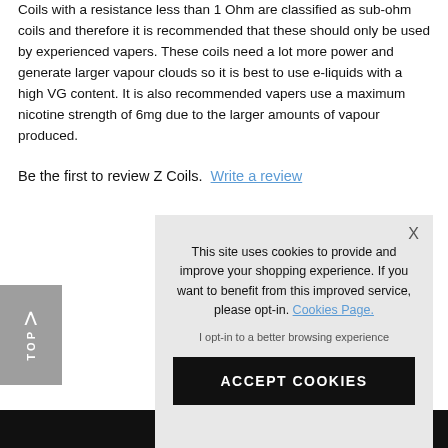Coils with a resistance less than 1 Ohm are classified as sub-ohm coils and therefore it is recommended that these should only be used by experienced vapers. These coils need a lot more power and generate larger vapour clouds so it is best to use e-liquids with a high VG content. It is also recommended vapers use a maximum nicotine strength of 6mg due to the larger amounts of vapour produced.
Be the first to review Z Coils. Write a review
[Figure (screenshot): Cookie consent overlay modal with message about site using cookies, a Cookies Page link, opt-in text, and an ACCEPT COOKIES button. Background shows a blue bar element, a grey TOP button, and a black footer bar.]